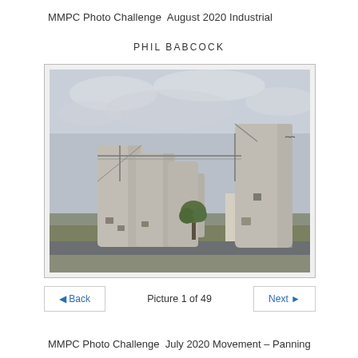MMPC Photo Challenge  August 2020 Industrial
PHIL BABCOCK
[Figure (photo): Photograph of large concrete grain silos of varying heights connected by elevated metal conveyors, with a paved road, grass, and a small tree in the foreground, overcast sky in background.]
◄ Back    Picture 1 of 49    Next ►
MMPC Photo Challenge  July 2020 Movement – Panning